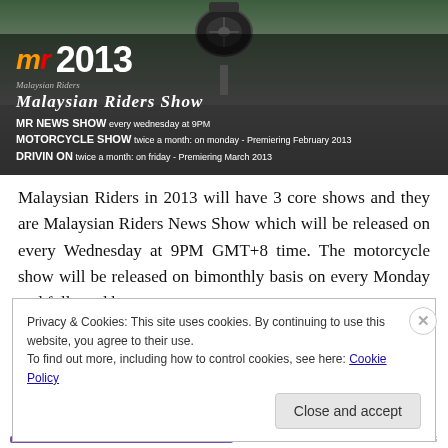[Figure (illustration): Malaysian Riders Show 2013 promotional banner with motorcycle wheel at top, orange/red MR logo, year 2013, show title in italic, and three show listings: MR NEWS SHOW, MOTORCYCLE SHOW, DRIVIN ON]
Malaysian Riders in 2013 will have 3 core shows and they are Malaysian Riders News Show which will be released on every Wednesday at 9PM GMT+8 time. The motorcycle show will be released on bimonthly basis on every Monday and followed by
Privacy & Cookies: This site uses cookies. By continuing to use this website, you agree to their use.
To find out more, including how to control cookies, see here: Cookie Policy
Close and accept